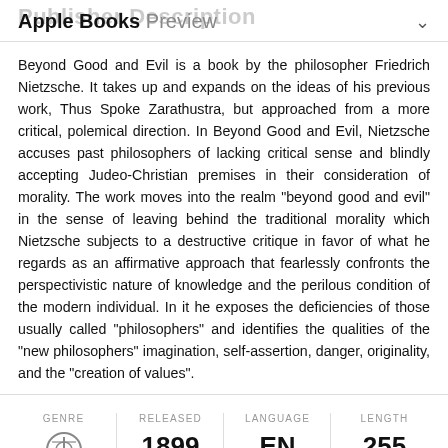Apple Books Preview
Beyond Good and Evil is a book by the philosopher Friedrich Nietzsche. It takes up and expands on the ideas of his previous work, Thus Spoke Zarathustra, but approached from a more critical, polemical direction. In Beyond Good and Evil, Nietzsche accuses past philosophers of lacking critical sense and blindly accepting Judeo-Christian premises in their consideration of morality. The work moves into the realm "beyond good and evil" in the sense of leaving behind the traditional morality which Nietzsche subjects to a destructive critique in favor of what he regards as an affirmative approach that fearlessly confronts the perspectivistic nature of knowledge and the perilous condition of the modern individual. In it he exposes the deficiencies of those usually called "philosophers" and identifies the qualities of the "new philosophers" imagination, self-assertion, danger, originality, and the "creation of values".
| GENRE | RELEASED | LANGUAGE | LENGTH |
| --- | --- | --- | --- |
| Nonfiction | 1899
December 31 | EN
English | 255
Pages |